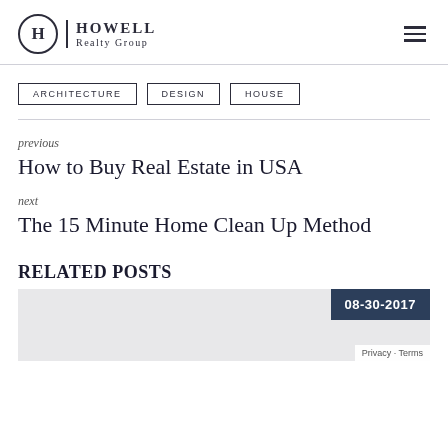HOWELL Realty Group
ARCHITECTURE
DESIGN
HOUSE
previous
How to Buy Real Estate in USA
next
The 15 Minute Home Clean Up Method
RELATED POSTS
[Figure (photo): Related post image area with date badge showing 08-30-2017]
08-30-2017